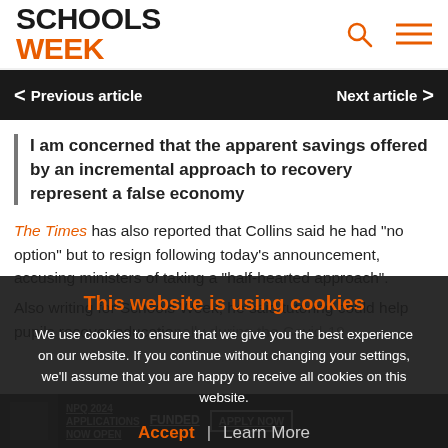SCHOOLS WEEK
< Previous article   Next article >
I am concerned that the apparent savings offered by an incremental approach to recovery represent a false economy
The Times has also reported that Collins said he had "no option" but to resign following today's announcement, accusing ministers of taking a "half-hearted approach".
Also writing for Schools Week, he said tutoring could help pupils recover educationally during the Covid-19
This website is using cookies
We use cookies to ensure that we give you the best experience on our website. If you continue without changing your settings, we'll assume that you are happy to receive all cookies on this website.
Accept | Learn More